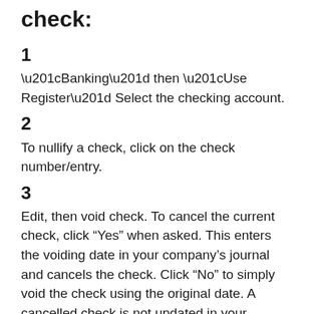check:
1
“Banking” then “Use Register” Select the checking account.
2
To nullify a check, click on the check number/entry.
3
Edit, then void check. To cancel the current check, click “Yes” when asked. This enters the voiding date in your company’s journal and cancels the check. Click “No” to simply void the check using the original date. A cancelled check is not updated in your company’s journal.
4